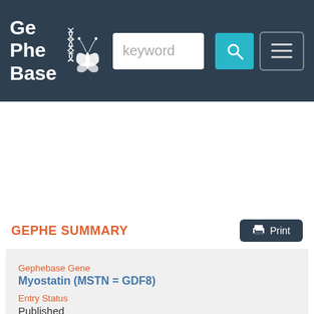GePheBase — keyword search bar with navigation
GEPHE SUMMARY
Gephebase Gene
Myostatin (MSTN = GDF8)
Entry Status
Published
GepheID
GP00000690
Main curator
Martin